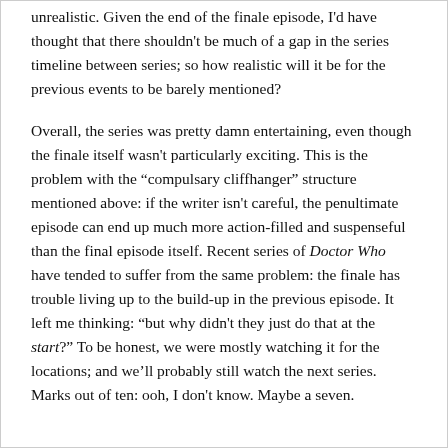unrealistic. Given the end of the finale episode, I'd have thought that there shouldn't be much of a gap in the series timeline between series; so how realistic will it be for the previous events to be barely mentioned?
Overall, the series was pretty damn entertaining, even though the finale itself wasn't particularly exciting. This is the problem with the “compulsary cliffhanger” structure mentioned above: if the writer isn't careful, the penultimate episode can end up much more action-filled and suspenseful than the final episode itself. Recent series of Doctor Who have tended to suffer from the same problem: the finale has trouble living up to the build-up in the previous episode. It left me thinking: “but why didn't they just do that at the start?” To be honest, we were mostly watching it for the locations; and we’ll probably still watch the next series. Marks out of ten: ooh, I don't know. Maybe a seven.